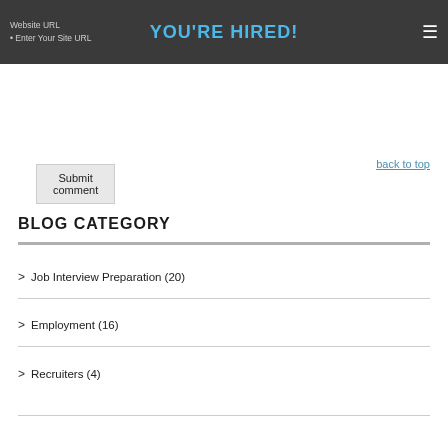YOU'RE HIRED!
Submit comment
back to top
BLOG CATEGORY
> Job Interview Preparation (20)
> Employment (16)
> Recruiters (4)